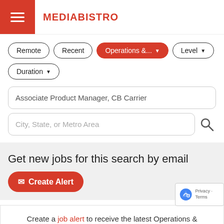MEDIABISTRO
Remote
Recent
Operations &... ▼
Level ▼
Duration ▼
Associate Product Manager, CB Carrier
City, State, or Metro Area
Get new jobs for this search by email
✉ Create Alert
Create a job alert to receive the latest Operations & Strategy jobs.